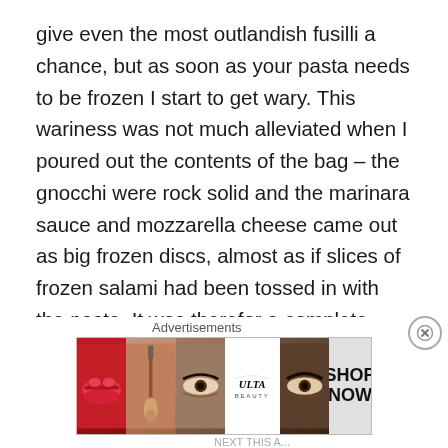give even the most outlandish fusilli a chance, but as soon as your pasta needs to be frozen I start to get wary. This wariness was not much alleviated when I poured out the contents of the bag – the gnocchi were rock solid and the marinara sauce and mozzarella cheese came out as big frozen discs, almost as if slices of frozen salami had been tossed in with the pasta. It was therefor a complete shock and surprise when this stuff came out of the microwave hot, steaming and perfectly delicious.
The marinara and cheese sauce is pretty good – the tomato taste is rich, strong hints of basil are present throughout, and the cheese is present but not
[Figure (other): Ulta Beauty advertisement banner with cosmetics imagery including lips with lipstick, a makeup brush, an eye with eyeshadow, Ulta logo, another eye, and 'SHOP NOW' text]